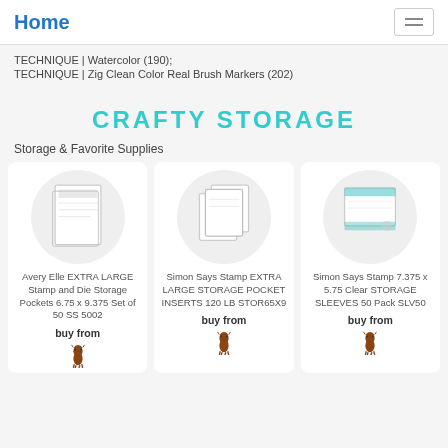Home
TECHNIQUE | Watercolor (190);
TECHNIQUE | Zig Clean Color Real Brush Markers (202)
CRAFTY STORAGE
Storage & Favorite Supplies
[Figure (photo): Product image: Avery Elle EXTRA LARGE Stamp and Die Storage Pockets 6.75 x 9.375 Set of 50 SS 5002]
Avery Elle EXTRA LARGE Stamp and Die Storage Pockets 6.75 x 9.375 Set of 50 SS 5002
buy from
[Figure (photo): Product image: Simon Says Stamp EXTRA LARGE STORAGE POCKET INSERTS 120 LB STOR65X9]
Simon Says Stamp EXTRA LARGE STORAGE POCKET INSERTS 120 LB STOR65X9
buy from
[Figure (photo): Product image: Simon Says Stamp 7.375 x 5.75 Clear STORAGE SLEEVES 50 Pack SLV50]
Simon Says Stamp 7.375 x 5.75 Clear STORAGE SLEEVES 50 Pack SLV50
buy from